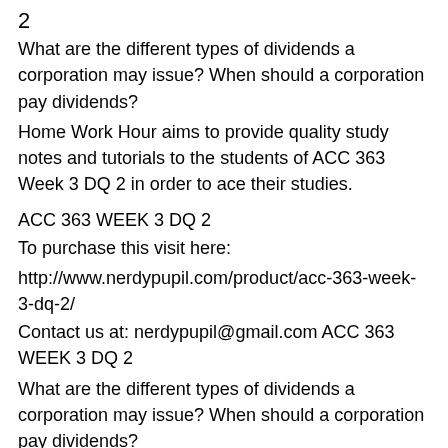2
What are the different types of dividends a corporation may issue? When should a corporation pay dividends?
Home Work Hour aims to provide quality study notes and tutorials to the students of ACC 363 Week 3 DQ 2 in order to ace their studies.
ACC 363 WEEK 3 DQ 2
To purchase this visit here:
http://www.nerdypupil.com/product/acc-363-week-3-dq-2/
Contact us at: nerdypupil@gmail.com ACC 363 WEEK 3 DQ 2
What are the different types of dividends a corporation may issue? When should a corporation pay dividends?
Home Work Hour aims to provide quality study notes and tutorials to the students of ACC 363 Week 3 DQ 2 in order to ace their studies.